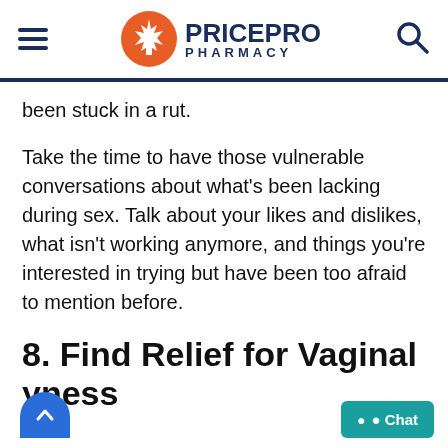PRICEPRO PHARMACY
been stuck in a rut.
Take the time to have those vulnerable conversations about what's been lacking during sex. Talk about your likes and dislikes, what isn't working anymore, and things you're interested in trying but have been too afraid to mention before.
8. Find Relief for Vaginal Dryness